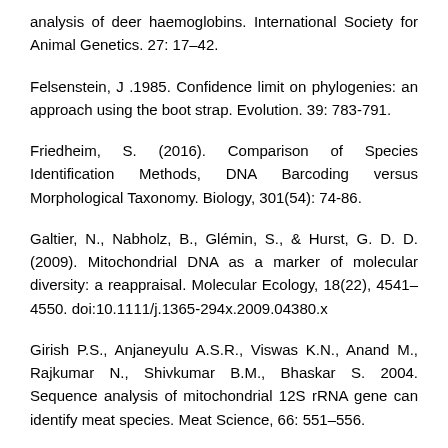analysis of deer haemoglobins. International Society for Animal Genetics. 27: 17–42.
Felsenstein, J .1985. Confidence limit on phylogenies: an approach using the boot strap. Evolution. 39: 783-791.
Friedheim, S. (2016). Comparison of Species Identification Methods, DNA Barcoding versus Morphological Taxonomy. Biology, 301(54): 74-86.
Galtier, N., Nabholz, B., Glémin, S., & Hurst, G. D. D. (2009). Mitochondrial DNA as a marker of molecular diversity: a reappraisal. Molecular Ecology, 18(22), 4541–4550. doi:10.1111/j.1365-294x.2009.04380.x
Girish P.S., Anjaneyulu A.S.R., Viswas K.N., Anand M., Rajkumar N., Shivkumar B.M., Bhaskar S. 2004. Sequence analysis of mitochondrial 12S rRNA gene can identify meat species. Meat Science, 66: 551–556.